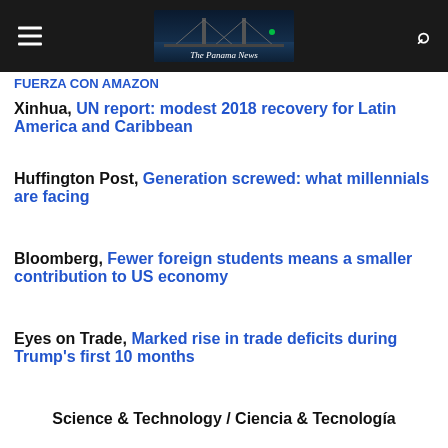The Panama News
FUERZA CON AMAZON
Xinhua, UN report: modest 2018 recovery for Latin America and Caribbean
Huffington Post, Generation screwed: what millennials are facing
Bloomberg, Fewer foreign students means a smaller contribution to US economy
Eyes on Trade, Marked rise in trade deficits during Trump's first 10 months
Science & Technology / Ciencia & Tecnología